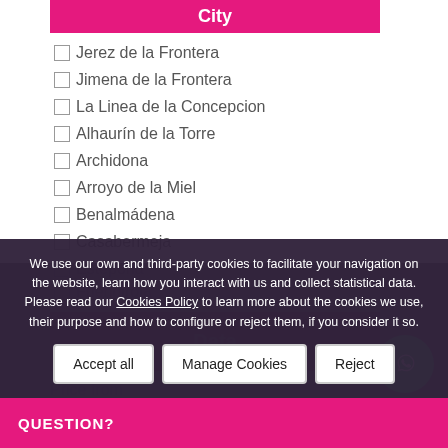City
Jerez de la Frontera
Jimena de la Frontera
La Linea de la Concepcion
Alhaurín de la Torre
Archidona
Arroyo de la Miel
Benalmádena
Casabermeja
Estepona
Fuengirola
Data
Price from
We use our own and third-party cookies to facilitate your navigation on the website, learn how you interact with us and collect statistical data. Please read our Cookies Policy to learn more about the cookies we use, their purpose and how to configure or reject them, if you consider it so.
Accept all
Manage Cookies
Reject
QUESTION?